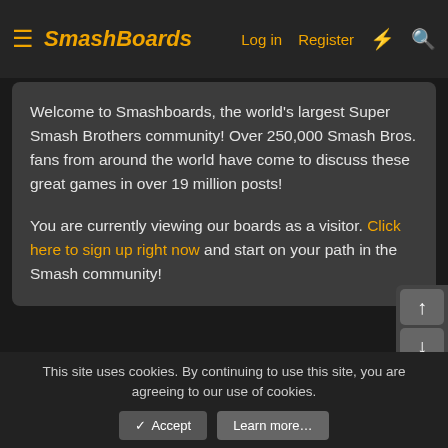SmashBoards — Log in  Register
Welcome to Smashboards, the world's largest Super Smash Brothers community! Over 250,000 Smash Bros. fans from around the world have come to discuss these great games in over 19 million posts!

You are currently viewing our boards as a visitor. Click here to sign up right now and start on your path in the Smash community!
Members
This site uses cookies. By continuing to use this site, you are agreeing to our use of cookies.
✓ Accept   Learn more…